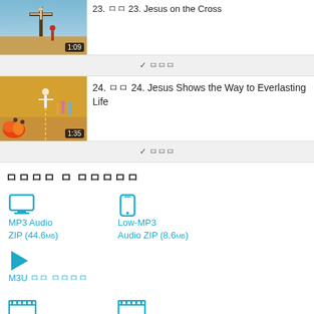[Figure (screenshot): Video thumbnail for item 23: Jesus on the Cross, showing crucifixion scene, duration 1:09]
23. ㅁㅁ 23. Jesus on the Cross
✓ ㅁㅁㅁ (collapse bar)
[Figure (screenshot): Video thumbnail for item 24: Jesus Shows the Way to Everlasting Life, showing Jesus with crowd and flames, duration 1:35]
24. ㅁㅁ 24. Jesus Shows the Way to Everlasting Life
✓ ㅁㅁㅁ (collapse bar)
ㅁㅁㅁㅁ ㅁ ㅁㅁㅁㅁㅁ
MP3 Audio ZIP (44.6MB)
Low-MP3 Audio ZIP (8.6MB)
M3U ㅁㅁ ㅁㅁㅁㅁ
MPEG4 Slideshow (57.3MB)
AVI for VCD Slideshow (13.7MB)
3GP Slideshow (4.2MB)